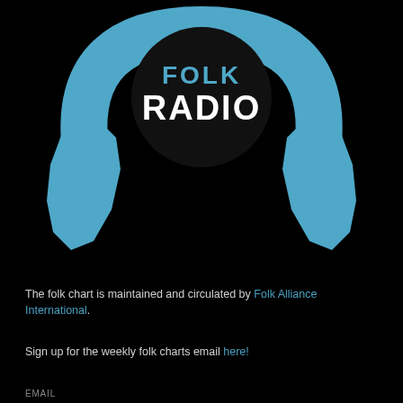[Figure (logo): Folk Radio logo: large teal/blue stylized headphones on black background with white bold text 'FOLK RADIO' in the center circle of the headphones]
The folk chart is maintained and circulated by Folk Alliance International.
Sign up for the weekly folk charts email here!
EMAIL